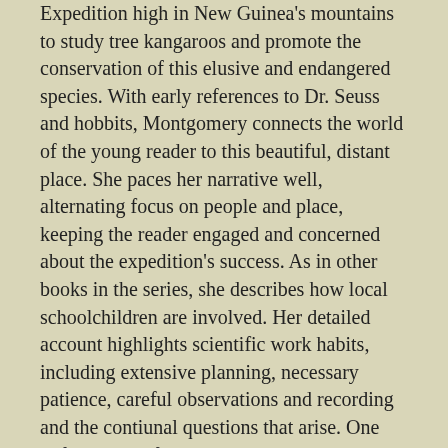Expedition high in New Guinea's mountains to study tree kangaroos and promote the conservation of this elusive and endangered species. With early references to Dr. Seuss and hobbits, Montgomery connects the world of the young reader to this beautiful, distant place. She paces her narrative well, alternating focus on people and place, keeping the reader engaged and concerned about the expedition's success. As in other books in the series, she describes how local schoolchildren are involved. Her detailed account highlights scientific work habits, including extensive planning, necessary patience, careful observations and recording and the contiunal questions that arise. One unfortunately flipped picture notwithstanding, Bishop's photographs, shots of the expedition members, strinking close-ups of flora and fauna including the sought-for kangaroo and lush, green cloud forest scenes, are beautifully reproduced. From the maps in front to the concluding suggestions for young enthusiasts, information about the language, and index, this is another commendable title from an experienced team